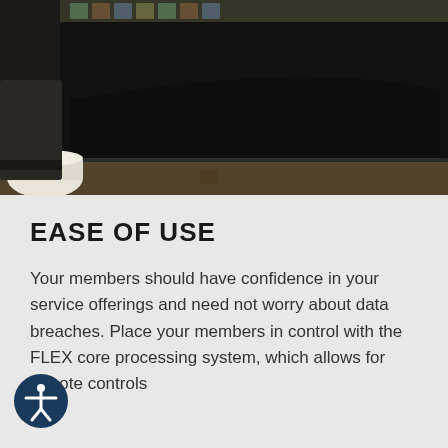[Figure (photo): Close-up photo of a laptop or electronic device on a desk, with holographic security labels visible at top, dark screen, and a white cylindrical object in the lower-left corner.]
EASE OF USE
Your members should have confidence in your service offerings and need not worry about data breaches. Place your members in control with the FLEX core processing system, which allows for remote controls